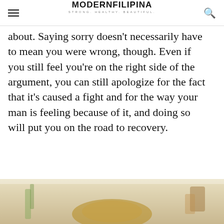MODERNFILIPINA STRONG. HEALTHY. BEAUTIFUL.
about. Saying sorry doesn’t necessarily have to mean you were wrong, though. Even if you still feel you’re on the right side of the argument, you can still apologize for the fact that it’s caused a fight and for the way your man is feeling because of it, and doing so will put you on the road to recovery.
SEE ALSO
[Figure (photo): Dark photo of a person, used as thumbnail for 'Twin Flame vs. Soulmate' article]
Twin Flame vs. Soulmate: Which is the Better Match?
Scroll To Top
[Figure (photo): Bottom portion of a lifestyle/dining photo with warm tones, showing a table setting]